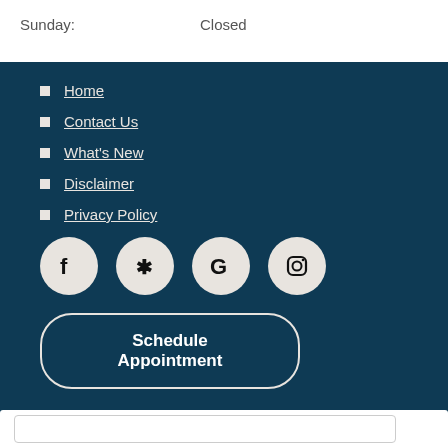Sunday: Closed
Home
Contact Us
What's New
Disclaimer
Privacy Policy
[Figure (illustration): Social media icons: Facebook, Yelp, Google, Instagram in circular beige buttons on dark teal background]
Schedule Appointment